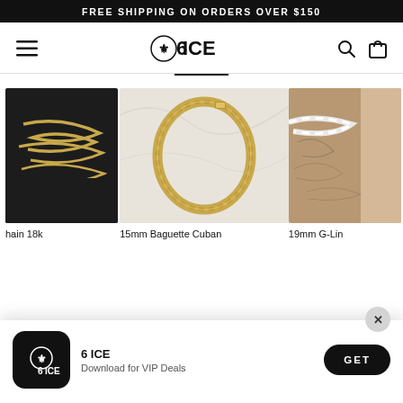FREE SHIPPING ON ORDERS OVER $150
[Figure (logo): 6ICE brand logo with navigation bar including hamburger menu, search icon, and bag icon]
[Figure (photo): Three jewelry product images side by side: gold chain worn around neck, 15mm Baguette Cuban chain on white marble background, and 19mm G-Link chain worn around tattooed neck]
hain 18k
15mm Baguette Cuban
19mm G-Lin
[Figure (screenshot): 6 ICE app download popup banner with logo, text '6 ICE - Download for VIP Deals', and GET button]